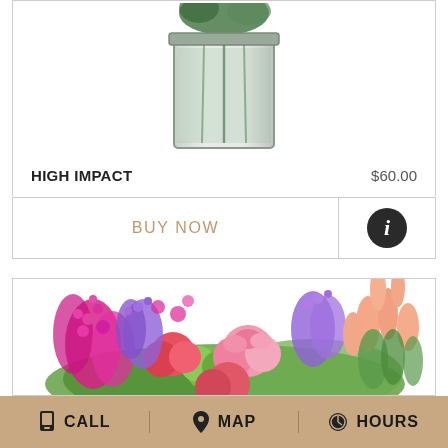[Figure (photo): Glass vase with green floral arrangement, partially cropped at top]
HIGH IMPACT
$60.00
BUY NOW
[Figure (photo): Colorful flower bouquet with pink roses, coral carnations, pink stock, purple statice, and peach tulips]
CALL  MAP  HOURS